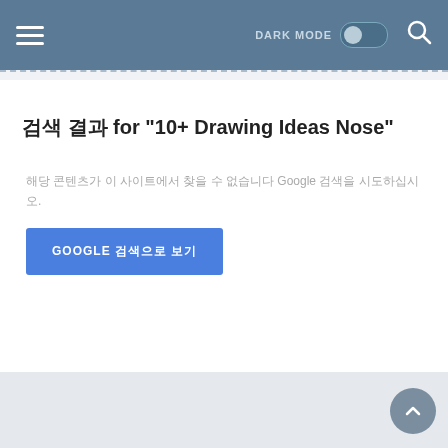DARK MODE [toggle] [search icon]
검색 결과 for "10+ Drawing Ideas Nose"
해당 콘텐츠가 이 사이트에서 찾을 수 없습니다 Google 검색을 시도하십시오.
GOOGLE 검색으로 보기